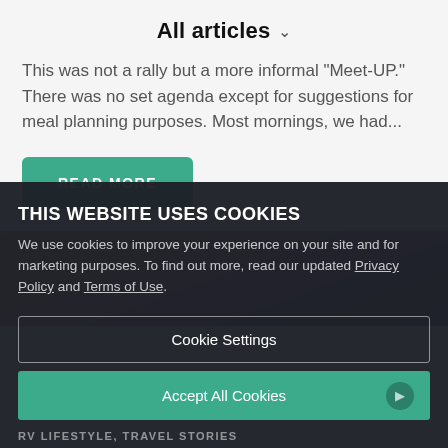All articles
This was not a rally but a more informal “Meet-UP.” There was no set agenda except for suggestions for meal planning purposes. Most mornings, we had...
READ MORE
[Figure (photo): Sunset/dramatic sky photo strip with number 21 overlay]
THIS WEBSITE USES COOKIES
We use cookies to improve your experience on your site and for marketing purposes. To find out more, read our updated Privacy Policy and Terms of Use.
Cookie Settings
Accept All Cookies
RV LIFESTYLE, TRAVEL STORIES